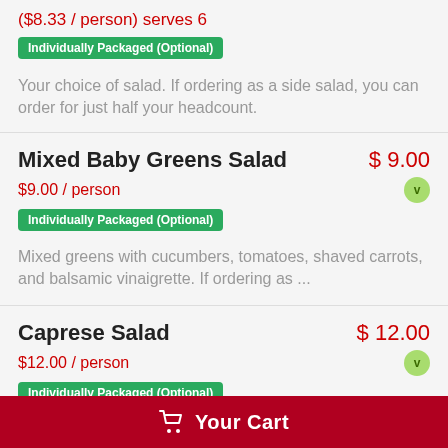($8.33 / person) serves 6
Individually Packaged (Optional)
Your choice of salad. If ordering as a side salad, you can order for just half your headcount.
Mixed Baby Greens Salad
$ 9.00
$9.00 / person
Individually Packaged (Optional)
Mixed greens with cucumbers, tomatoes, shaved carrots, and balsamic vinaigrette. If ordering as ...
Caprese Salad
$ 12.00
$12.00 / person
Individually Packaged (Optional)
Mozzarella cheese, sliced tomatoes, fresh basil, and balsamic vinaigrette. If ordering as a side...
Greek Salad
$ 12.00
Your Cart